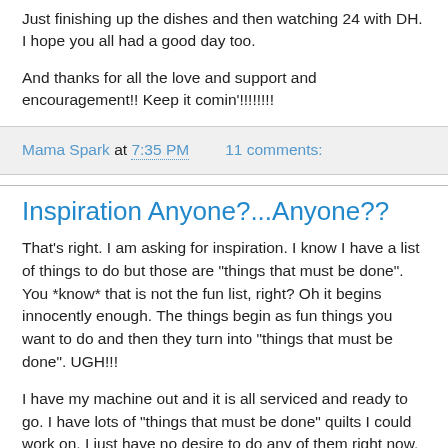Just finishing up the dishes and then watching 24 with DH. I hope you all had a good day too.
And thanks for all the love and support and encouragement!! Keep it comin'!!!!!!!!
Mama Spark at 7:35 PM   11 comments:
Inspiration Anyone?...Anyone??
That's right. I am asking for inspiration. I know I have a list of things to do but those are "things that must be done". You *know* that is not the fun list, right? Oh it begins innocently enough. The things begin as fun things you want to do and then they turn into "things that must be done". UGH!!!
I have my machine out and it is all serviced and ready to go. I have lots of "things that must be done" quilts I could work on. I just have no desire to do any of them right now. I remember feeling like this last year at this time too.